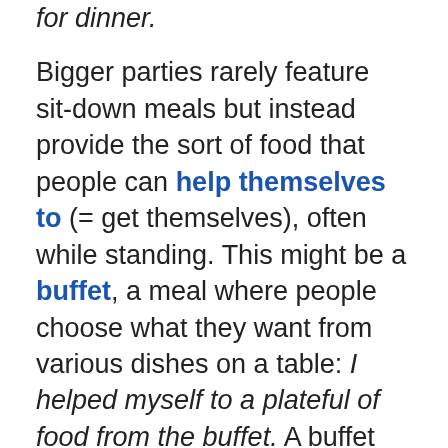for dinner.
Bigger parties rarely feature sit-down meals but instead provide the sort of food that people can help themselves to (= get themselves), often while standing. This might be a buffet, a meal where people choose what they want from various dishes on a table: I helped myself to a plateful of food from the buffet. A buffet might include the sort of food that can be eaten without using knives, forks or spoons. This is sometimes called finger food.
At some parties, trays of canapés are taken to the guests. Canapés are small items of food, usually with a pastry or bread base and a topping of